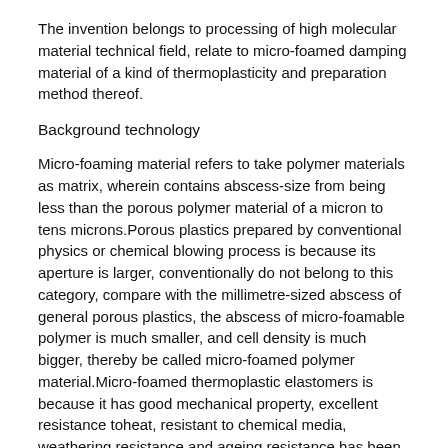The invention belongs to processing of high molecular material technical field, relate to micro-foamed damping material of a kind of thermoplasticity and preparation method thereof.
Background technology
Micro-foaming material refers to take polymer materials as matrix, wherein contains abscess-size from being less than the porous polymer material of a micron to tens microns.Porous plastics prepared by conventional physics or chemical blowing process is because its aperture is larger, conventionally do not belong to this category, compare with the millimetre-sized abscess of general porous plastics, the abscess of micro-foamable polymer is much smaller, and cell density is much bigger, thereby be called micro-foamed polymer material.Micro-foamed thermoplastic elastomers is because it has good mechanical property, excellent resistance toheat, resistant to chemical media, weathering resistance and ageing resistance has been applied to the damping field of high-speed railway, but that generally uses at present prepares in pure foamed thermoplastic elastomers not